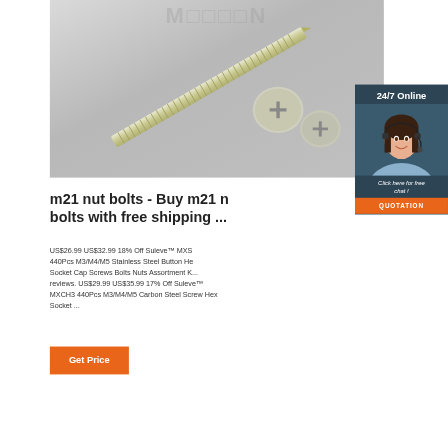[Figure (photo): Product photo of screws and nuts — a long threaded screw diagonally positioned with two round screw/bolt heads beside it on a grey metallic surface. Watermark text 'M□□□N' visible at top.]
[Figure (photo): Customer service agent overlay — woman with headset smiling, with '24/7 Online' header, 'Click here for free chat!' text, and orange QUOTATION button on dark blue/teal background panel.]
m21 nut bolts - Buy m21 nut bolts with free shipping ...
US$26.99 US$32.99 18% Off Suleve™ MXS... 440Pcs M3/M4/M5 Stainless Steel Button He... Socket Cap Screws Bolts Nuts Assortment K... reviews. US$29.99 US$35.99 17% Off Suleve™ MXCH3 440Pcs M3/M4/M5 Carbon Steel Screw Hex Socket ...
[Figure (other): Orange 'Get Price' button]